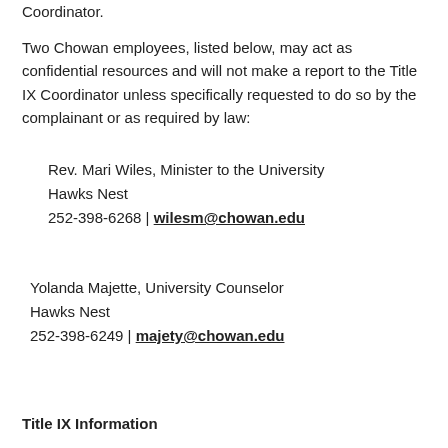Coordinator.
Two Chowan employees, listed below, may act as confidential resources and will not make a report to the Title IX Coordinator unless specifically requested to do so by the complainant or as required by law:
Rev. Mari Wiles, Minister to the University
Hawks Nest
252-398-6268 | wilesm@chowan.edu
Yolanda Majette, University Counselor
Hawks Nest
252-398-6249 | majety@chowan.edu
Title IX Information